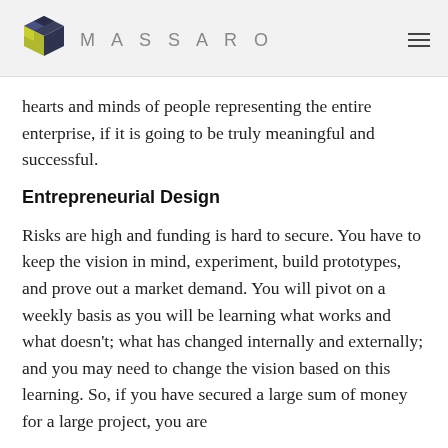MASSARO
hearts and minds of people representing the entire enterprise, if it is going to be truly meaningful and successful.
Entrepreneurial Design
Risks are high and funding is hard to secure. You have to keep the vision in mind, experiment, build prototypes, and prove out a market demand. You will pivot on a weekly basis as you will be learning what works and what doesn't; what has changed internally and externally; and you may need to change the vision based on this learning. So, if you have secured a large sum of money for a large project, you are